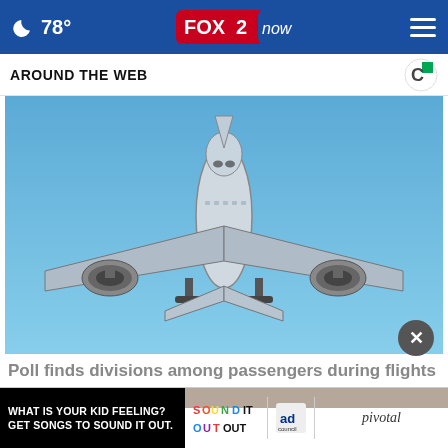🌙 78° FOX 2 now ☰
AROUND THE WEB
[Figure (photo): Photograph of a commercial airplane viewed from below and slightly in front, approaching for landing or taking off, against a clear blue sky. The plane is white and gray, wings extended with two large engines visible.]
Poll finds divisions among passengers during flights
[Figure (photo): Ad banner: WHAT IS YOUR KID FEELING? GET SONGS TO SOUND IT OUT. With Sound It Out logo, Ad Council logo, and Pivotal branding.]